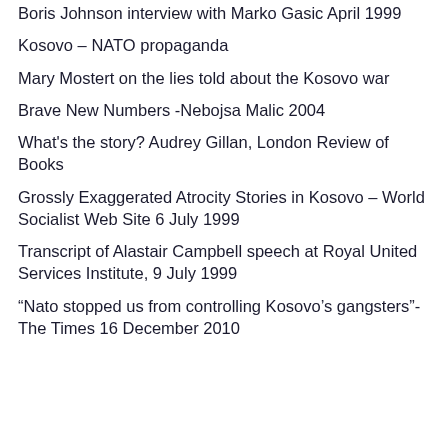Boris Johnson interview with Marko Gasic April 1999
Kosovo – NATO propaganda
Mary Mostert on the lies told about the Kosovo war
Brave New Numbers -Nebojsa Malic 2004
What's the story? Audrey Gillan, London Review of Books
Grossly Exaggerated Atrocity Stories in Kosovo – World Socialist Web Site 6 July 1999
Transcript of Alastair Campbell speech at Royal United Services Institute, 9 July 1999
“Nato stopped us from controlling Kosovo’s gangsters”- The Times 16 December 2010